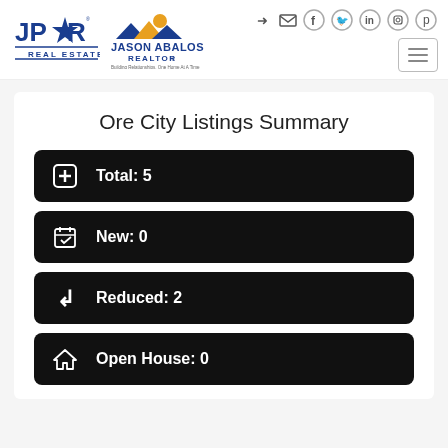JPAR Real Estate — Jason Abalos Realtor header with social icons and menu
Ore City Listings Summary
Total: 5
New: 0
Reduced: 2
Open House: 0